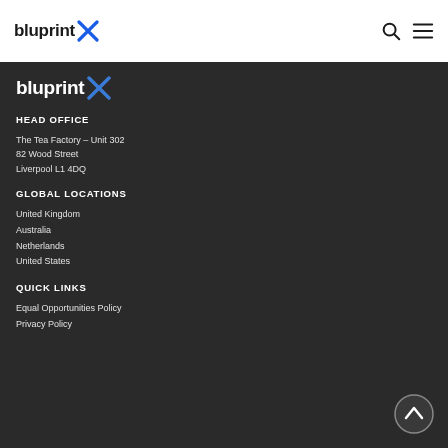[Figure (logo): BlueprintX logo in nav bar, white background. 'bluprint' in black bold, X in blue.]
[Figure (logo): BlueprintX logo in footer area, dark background. 'bluprint' in white bold, X in blue.]
HEAD OFFICE
The Tea Factory – Unit 302
82 Wood Street
Liverpool L1 4DQ
GLOBAL LOCATIONS
United Kingdom
Australia
Netherlands
United States
QUICK LINKS
Equal Opportunities Policy
Privacy Policy